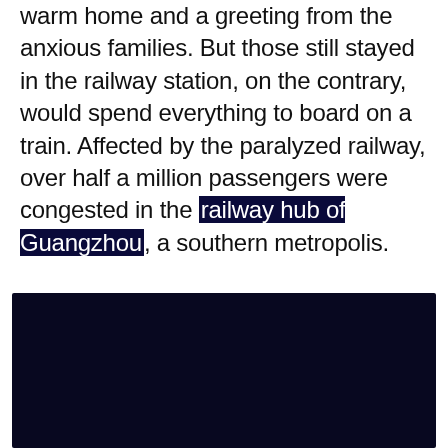warm home and a greeting from the anxious families. But those still stayed in the railway station, on the contrary, would spend everything to board on a train. Affected by the paralyzed railway, over half a million passengers were congested in the railway hub of Guangzhou, a southern metropolis.
Crowded, crazy; gigantic flow of noise and hordes of confused people. Even this can't tell how the hell on earth has been.
[Figure (photo): Dark navy/black photograph, nearly completely dark, depicting a scene at the railway hub of Guangzhou]